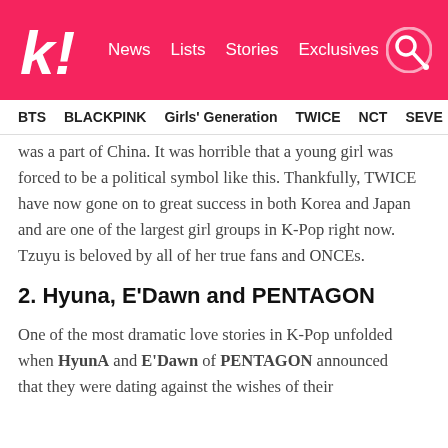k! News  Lists  Stories  Exclusives
BTS  BLACKPINK  Girls' Generation  TWICE  NCT  SEVE…
was a part of China. It was horrible that a young girl was forced to be a political symbol like this. Thankfully, TWICE have now gone on to great success in both Korea and Japan and are one of the largest girl groups in K-Pop right now. Tzuyu is beloved by all of her true fans and ONCEs.
2. Hyuna, E'Dawn and PENTAGON
One of the most dramatic love stories in K-Pop unfolded when HyunA and E'Dawn of PENTAGON announced that they were dating against the wishes of their